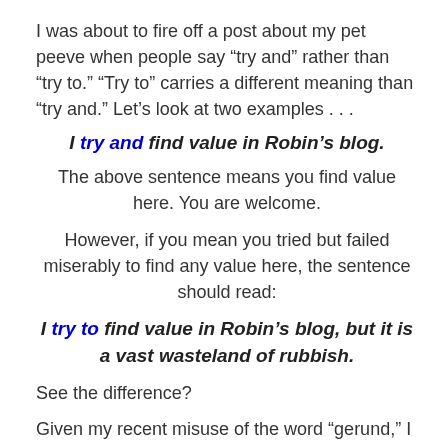I was about to fire off a post about my pet peeve when people say “try and” rather than “try to.” “Try to” carries a different meaning than “try and.” Let’s look at two examples . . .
I try and find value in Robin’s blog.
The above sentence means you find value here. You are welcome.
However, if you mean you tried but failed miserably to find any value here, the sentence should read:
I try to find value in Robin’s blog, but it is a vast wasteland of rubbish.
See the difference?
Given my recent misuse of the word “gerund,” I thought I